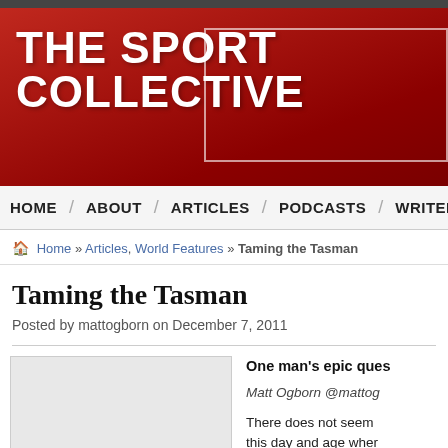THE SPORT COLLECTIVE
HOME / ABOUT / ARTICLES / PODCASTS / WRITER
Home » Articles, World Features » Taming the Tasman
Taming the Tasman
Posted by mattogborn on December 7, 2011
[Figure (photo): Article image placeholder, light grey box]
One man's epic ques
Matt Ogborn @mattog
There does not seem this day and age when returns triumphantly fr expedition into the wil